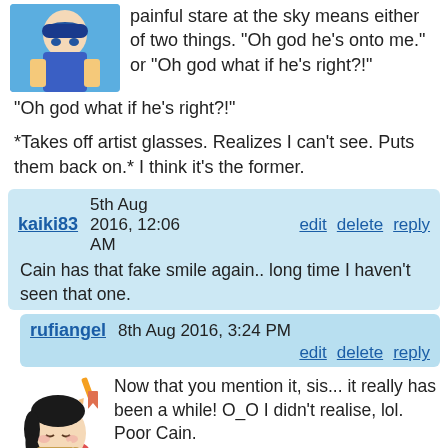[Figure (illustration): Anime-style character illustration with blue tones, partial view at top-left]
painful stare at the sky means either of two things. "Oh god he's onto me." or "Oh god what if he's right?!"
*Takes off artist glasses. Realizes I can't see. Puts them back on.* I think it's the former.
kaiki83   5th Aug 2016, 12:06 AM   edit  delete  reply
Cain has that fake smile again.. long time I haven't seen that one.
rufiangel   8th Aug 2016, 3:24 PM   edit  delete  reply
[Figure (illustration): Anime-style chibi character eating a sandwich with pencil and bookmark icons]
Now that you mention it, sis... it really has been a while! O_O I didn't realise, lol. Poor Cain.